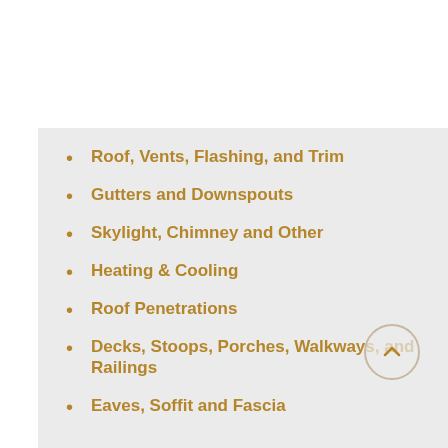Roof, Vents, Flashing, and Trim
Gutters and Downspouts
Skylight, Chimney and Other
Heating & Cooling
Roof Penetrations
Decks, Stoops, Porches, Walkways, and Railings
Eaves, Soffit and Fascia